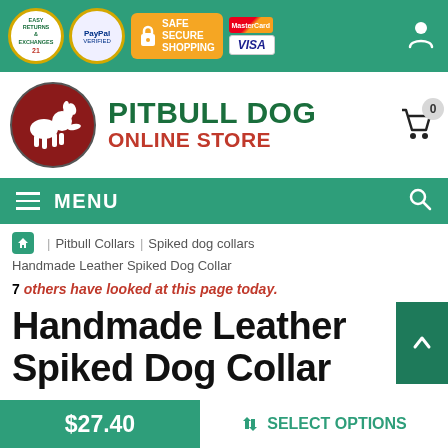Easy Returns & Exchanges | PayPal Verified | Safe Secure Shopping | MasterCard | VISA
[Figure (logo): Pitbull Dog Online Store logo — red circle with white dog silhouette, green and red brand text]
MENU
Home / Pitbull Collars / Spiked dog collars / Handmade Leather Spiked Dog Collar
7 others have looked at this page today.
Handmade Leather Spiked Dog Collar
$27.40  SELECT OPTIONS